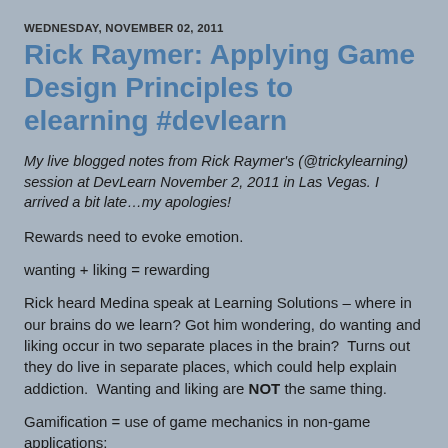WEDNESDAY, NOVEMBER 02, 2011
Rick Raymer: Applying Game Design Principles to elearning #devlearn
My live blogged notes from Rick Raymer's (@trickylearning) session at DevLearn November 2, 2011 in Las Vegas. I arrived a bit late…my apologies!
Rewards need to evoke emotion.
wanting + liking = rewarding
Rick heard Medina speak at Learning Solutions – where in our brains do we learn? Got him wondering, do wanting and liking occur in two separate places in the brain?  Turns out they do live in separate places, which could help explain addiction.  Wanting and liking are NOT the same thing.
Gamification = use of game mechanics in non-game applications: